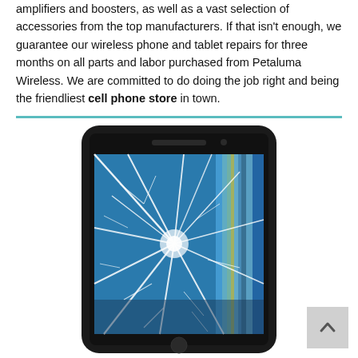amplifiers and boosters, as well as a vast selection of accessories from the top manufacturers. If that isn't enough, we guarantee our wireless phone and tablet repairs for three months on all parts and labor purchased from Petaluma Wireless. We are committed to do doing the job right and being the friendliest cell phone store in town.
[Figure (photo): A smartphone with a severely cracked screen, shown from the front. The screen displays a shattered pattern with web-like cracks radiating from a central impact point, with blue and yellow vertical color distortions visible through the cracks.]
[Figure (other): A scroll-to-top button in the bottom right corner, showing an upward arrow on a light gray background.]